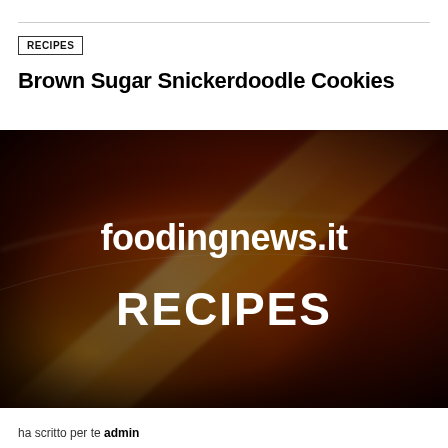RECIPES
Brown Sugar Snickerdoodle Cookies
[Figure (illustration): Dark warm-toned abstract background with orange, red, maroon gradient and light streaks. Text overlay reads 'foodingnews.it' and 'RECIPES' in white bold font.]
ha scritto per te admin